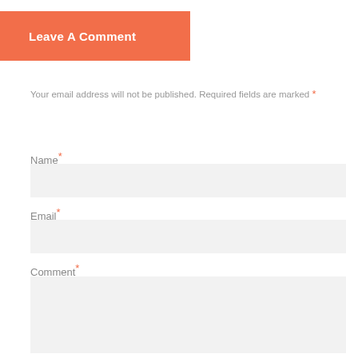Leave A Comment
Your email address will not be published. Required fields are marked *
Name *
Email *
Comment *